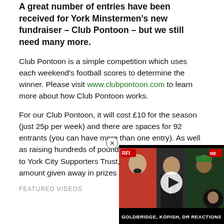A great number of entries have been received for York Minstermen's new fundraiser – Club Pontoon – but we still need many more.
Club Pontoon is a simple competition which uses each weekend's football scores to determine the winner. Please visit www.clubpontoon.com to learn more about how Club Pontoon works.
For our Club Pontoon, it will cost £10 for the season (just 25p per week) and there are spaces for 92 entrants (you can have more than one entry). As well as raising hundreds of pounds, which will be donated to York City Supporters Trust, it will also see a similar amount given away in prizes money.
FEATURED VIDEOS
[Figure (screenshot): Video thumbnail showing three people, one in red shirt speaking into microphone, one in dark clothing, one wearing a cap and headphones, with 'GOLDBRIDGE, KOPISH, DR REACTIONS' caption bar at the bottom and a play button overlay.]